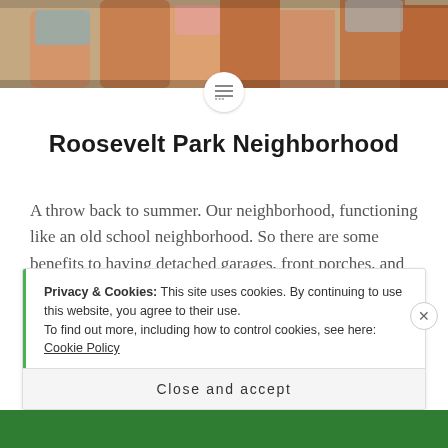[Figure (photo): Cropped photo showing people's legs and feet on what appears to be a porch or deck, with children in floral clothing visible]
Roosevelt Park Neighborhood
A throw back to summer. Our neighborhood, functioning like an old school neighborhood. So there are some benefits to having detached garages, front porches, and no front yard! Thanking God for the little annoyances that are in the end, blessings!
Privacy & Cookies: This site uses cookies. By continuing to use this website, you agree to their use.
To find out more, including how to control cookies, see here: Cookie Policy
Close and accept